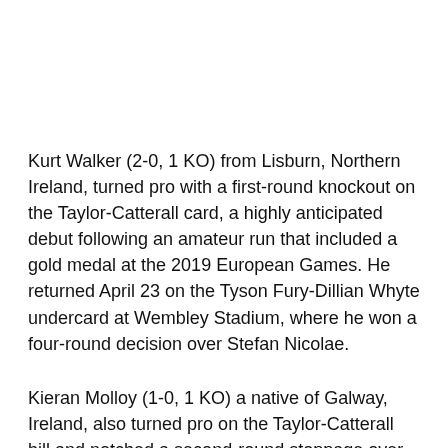Kurt Walker (2-0, 1 KO) from Lisburn, Northern Ireland, turned pro with a first-round knockout on the Taylor-Catterall card, a highly anticipated debut following an amateur run that included a gold medal at the 2019 European Games. He returned April 23 on the Tyson Fury-Dillian Whyte undercard at Wembley Stadium, where he won a four-round decision over Stefan Nicolae.
Kieran Molloy (1-0, 1 KO) a native of Galway, Ireland, also turned pro on the Taylor-Catterall bill and notched a second-round stoppage over Damian Esquisabel. He was scheduled to fight June 18 on the Artur Beterbiev-Joe Smith Jr. undercard